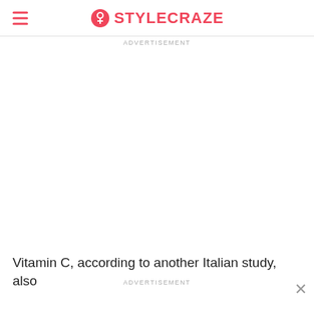STYLECRAZE
ADVERTISEMENT
Vitamin C, according to another Italian study, also
ADVERTISEMENT